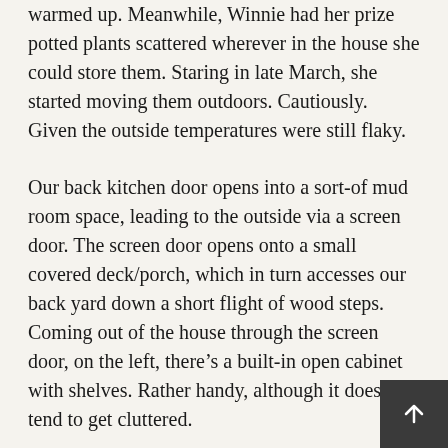warmed up. Meanwhile, Winnie had her prize potted plants scattered wherever in the house she could store them. Staring in late March, she started moving them outdoors. Cautiously. Given the outside temperatures were still flaky.
Our back kitchen door opens into a sort-of mud room space, leading to the outside via a screen door. The screen door opens onto a small covered deck/porch, which in turn accesses our back yard down a short flight of wood steps. Coming out of the house through the screen door, on the left, there’s a built-in open cabinet with shelves. Rather handy, although it does tend to get cluttered.
Winnie put several of her smaller potted plants on top of this cabinet, including one modest succulent that looked flopped over. Several days after she put it out, I noticed what looked like an